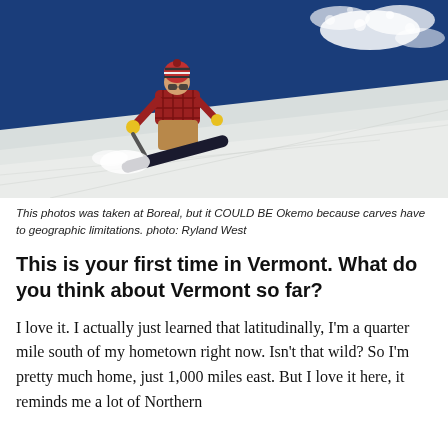[Figure (photo): A snowboarder in a red plaid jacket, brown pants, and a striped hat carving through deep powder snow with a spray of snow flying, against a dark blue sky background. Photo taken at Boreal ski resort.]
This photos was taken at Boreal, but it COULD BE Okemo because carves have to geographic limitations. photo: Ryland West
This is your first time in Vermont. What do you think about Vermont so far?
I love it. I actually just learned that latitudinally, I'm a quarter mile south of my hometown right now. Isn't that wild? So I'm pretty much home, just 1,000 miles east. But I love it here, it reminds me a lot of Northern